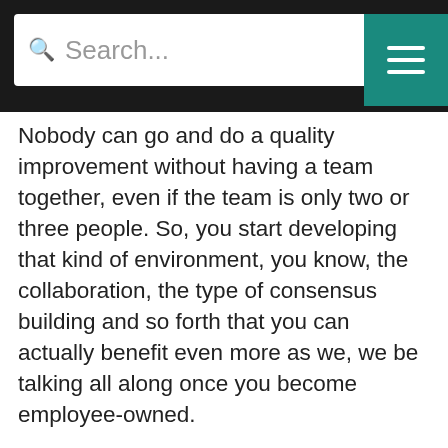Search...
Nobody can go and do a quality improvement without having a team together, even if the team is only two or three people. So, you start developing that kind of environment, you know, the collaboration, the type of consensus building and so forth that you can actually benefit even more as we, we be talking all along once you become employee-owned.
[00:26:40] Bret Keisling: Let me ask, and I don't mean this as a smart question. The process of getting up to speed, particularly if you're going from kind of a zero collaborative culture to robust, can be difficult, can